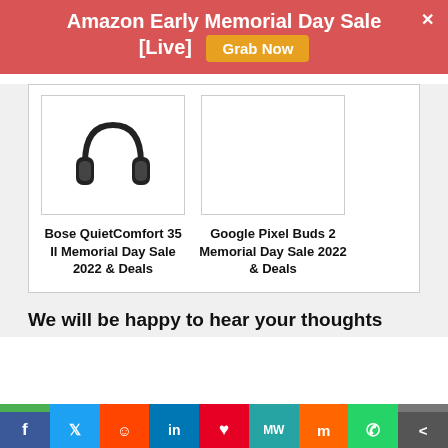Amazon Early Memorial Day Sale [Live]
[Figure (photo): Bose QuietComfort 35 II headphones product image]
Bose QuietComfort 35 II Memorial Day Sale 2022 & Deals
[Figure (photo): Google Pixel Buds 2 product image (blank/white)]
Google Pixel Buds 2 Memorial Day Sale 2022 & Deals
We will be happy to hear your thoughts